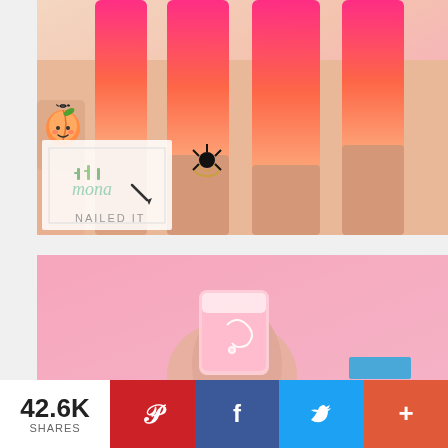[Figure (photo): Close-up photo of long coffin-shaped nails with pink-to-orange ombre gradient matte finish. One nail has a cartoon peach emoji art. Another nail has a black spiky decoration. A watermark logo reading 'NAILED IT' is visible in the lower left of the image.]
[Figure (photo): Photo of a finger with a light pink square nail against a pink background. A small white swirl/circle design is visible on the nail.]
42.6K SHARES